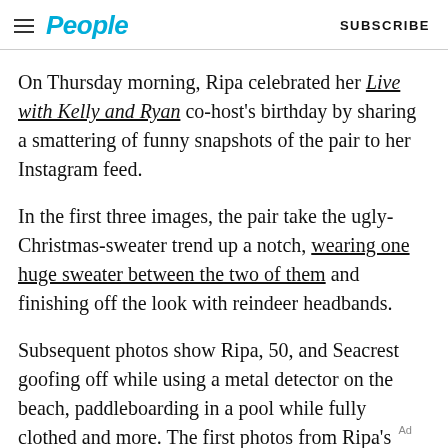People  SUBSCRIBE
On Thursday morning, Ripa celebrated her Live with Kelly and Ryan co-host's birthday by sharing a smattering of funny snapshots of the pair to her Instagram feed.
In the first three images, the pair take the ugly-Christmas-sweater trend up a notch, wearing one huge sweater between the two of them and finishing off the look with reindeer headbands.
Subsequent photos show Ripa, 50, and Seacrest goofing off while using a metal detector on the beach, paddleboarding in a pool while fully clothed and more. The first photos from Ripa's Instagram feed